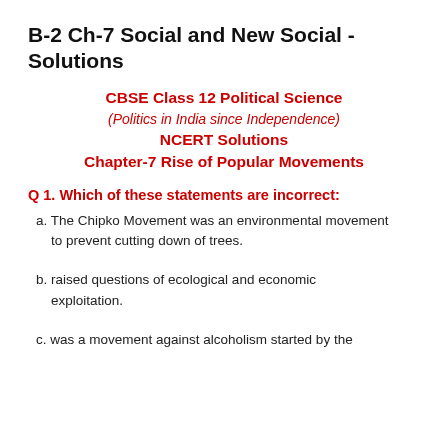B-2 Ch-7 Social and New Social - Solutions
CBSE Class 12 Political Science
(Politics in India since Independence)
NCERT Solutions
Chapter-7 Rise of Popular Movements
Q 1. Which of these statements are incorrect:
a. The Chipko Movement was an environmental movement to prevent cutting down of trees.
b. raised questions of ecological and economic exploitation.
c. was a movement against alcoholism started by the